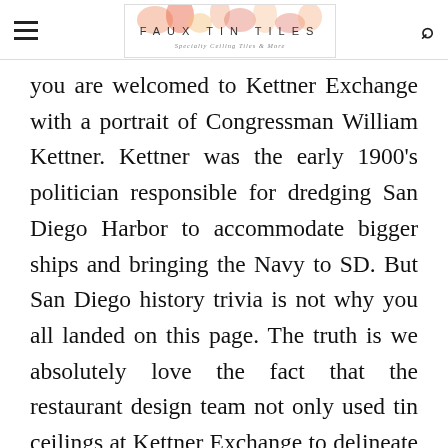FAUX TIN TILES
you are welcomed to Kettner Exchange with a portrait of Congressman William Kettner. Kettner was the early 1900’s politician responsible for dredging San Diego Harbor to accommodate bigger ships and bringing the Navy to SD. But San Diego history trivia is not why you all landed on this page. The truth is we absolutely love the fact that the restaurant design team not only used tin ceilings at Kettner Exchange to delineate the homage to Congressman Kettner but are fascinated with their use of Edison Light Bulbs within